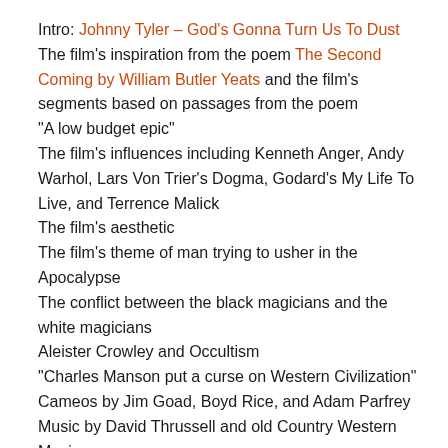Intro: Johnny Tyler – God's Gonna Turn Us To Dust
The film's inspiration from the poem The Second Coming by William Butler Yeats and the film's segments based on passages from the poem
"A low budget epic"
The film's influences including Kenneth Anger, Andy Warhol, Lars Von Trier's Dogma, Godard's My Life To Live, and Terrence Malick
The film's aesthetic
The film's theme of man trying to usher in the Apocalypse
The conflict between the black magicians and the white magicians
Aleister Crowley and Occultism
"Charles Manson put a curse on Western Civilization"
Cameos by Jim Goad, Boyd Rice, and Adam Parfrey
Music by David Thrussell and old Country Western Music
Filming locales including Thailand, Australia, LA, Switzerland, Barcelona, and London